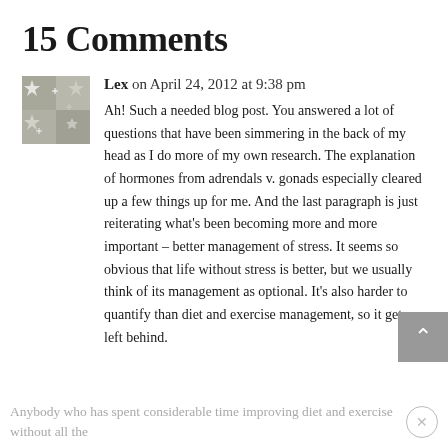15 Comments
Lex on April 24, 2012 at 9:38 pm
[Figure (illustration): Avatar image for commenter Lex — decorative geometric pattern in grey and white]
Ah! Such a needed blog post. You answered a lot of questions that have been simmering in the back of my head as I do more of my own research. The explanation of hormones from adrendals v. gonads especially cleared up a few things up for me. And the last paragraph is just reiterating what's been becoming more and more important – better management of stress. It seems so obvious that life without stress is better, but we usually think of its management as optional. It's also harder to quantify than diet and exercise management, so it gets left behind.
Anybody who has spent considerable time improving diet and exercise without all the